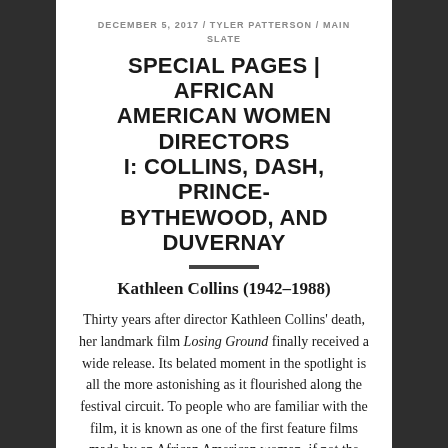DECEMBER 5, 2017 / TYLER PATTERSON / MAIN SLATE
SPECIAL PAGES | AFRICAN AMERICAN WOMEN DIRECTORS I: COLLINS, DASH, PRINCE-BYTHEWOOD, AND DUVERNAY
Kathleen Collins (1942–1988)
Thirty years after director Kathleen Collins' death, her landmark film Losing Ground finally received a wide release. Its belated moment in the spotlight is all the more astonishing as it flourished along the festival circuit. To people who are familiar with the film, it is known as one of the first feature films made by an African American woman, if not the first. It is also one of